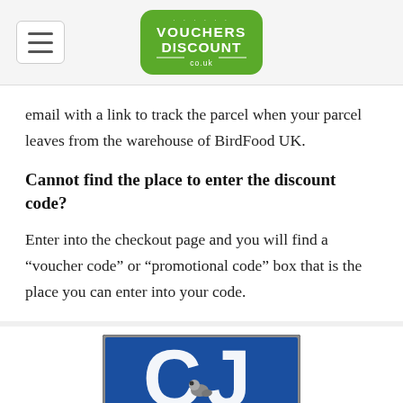[Figure (logo): Vouchers Discount co.uk logo - green rounded rectangle with white text]
email with a link to track the parcel when your parcel leaves from the warehouse of BirdFood UK.
Cannot find the place to enter the discount code?
Enter into the checkout page and you will find a “voucher code” or “promotional code” box that is the place you can enter into your code.
[Figure (logo): CJ Wildlife logo - blue square with large white CJ letters and a bird silhouette]